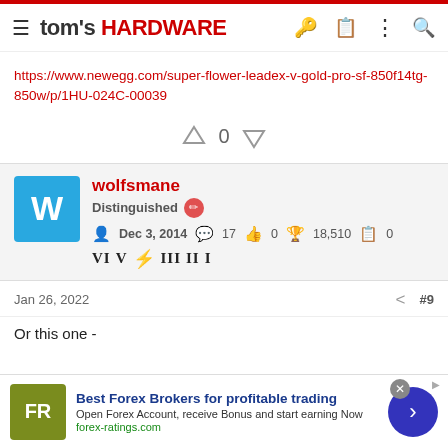tom's HARDWARE
https://www.newegg.com/super-flower-leadex-v-gold-pro-sf-850f14tg-850w/p/1HU-024C-00039
0
wolfsmane
Distinguished
Dec 3, 2014  17  0  18,510  0
VI V III II I
Jan 26, 2022  #9
Or this one -
Best Forex Brokers for profitable trading
Open Forex Account, receive Bonus and start earning Now
forex-ratings.com